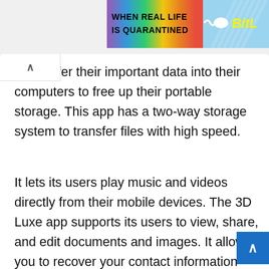[Figure (screenshot): Advertisement banner showing 'WHEN REAL LIFE IS QUARANTINED' text with rainbow gradient background and 'BitL' logo on the right with light blue background]
to transfer their important data into their computers to free up their portable storage. This app has a two-way storage system to transfer files with high speed.
It lets its users play music and videos directly from their mobile devices. The 3D Luxe app supports its users to view, share, and edit documents and images. It allows you to recover your contact information right on your mobile device. Users can use the lightning connector feature for fast document sharing.